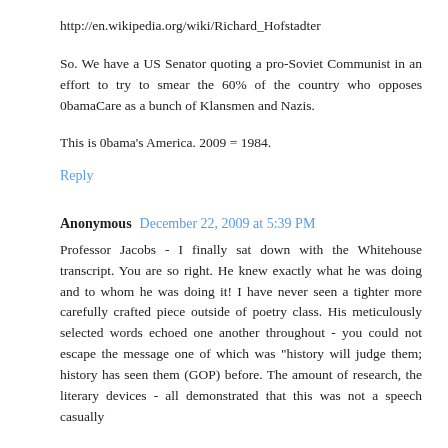http://en.wikipedia.org/wiki/Richard_Hofstadter
So. We have a US Senator quoting a pro-Soviet Communist in an effort to try to smear the 60% of the country who opposes 0bamaCare as a bunch of Klansmen and Nazis.
This is 0bama's America. 2009 = 1984.
Reply
Anonymous  December 22, 2009 at 5:39 PM
Professor Jacobs - I finally sat down with the Whitehouse transcript. You are so right. He knew exactly what he was doing and to whom he was doing it! I have never seen a tighter more carefully crafted piece outside of poetry class. His meticulously selected words echoed one another throughout - you could not escape the message one of which was "history will judge them; history has seen them (GOP) before. The amount of research, the literary devices - all demonstrated that this was not a speech casually